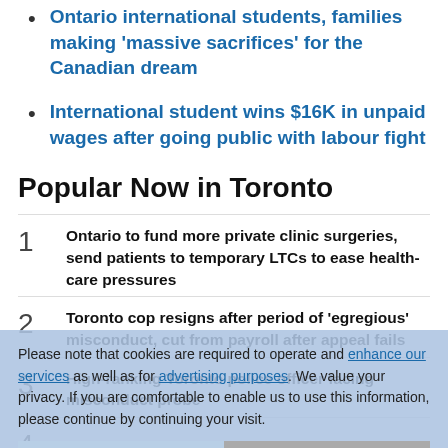Ontario international students, families making 'massive sacrifices' for the Canadian dream
International student wins $16K in unpaid wages after going public with labour fight
Popular Now in Toronto
1 Ontario to fund more private clinic surgeries, send patients to temporary LTCs to ease health-care pressures
2 Toronto cop resigns after period of 'egregious' misconduct, cut from payroll after appeal fails
3 High-ranking Toronto police officer facing misconduct probe
4 (partially visible)
Please note that cookies are required to operate and enhance our services as well as for advertising purposes. We value your privacy. If you are comfortable to enable us to use this information, please continue by continuing your visit.